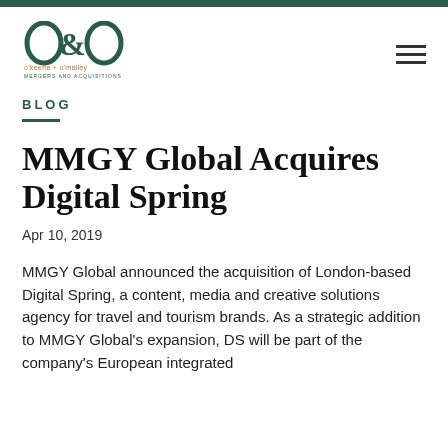[Figure (logo): O&O o'keeffe + o'malley Mergers and Acquisitions logo in dark green]
BLOG
MMGY Global Acquires Digital Spring
Apr 10, 2019
MMGY Global announced the acquisition of London-based Digital Spring, a content, media and creative solutions agency for travel and tourism brands. As a strategic addition to MMGY Global's expansion, DS will be part of the company's European integrated